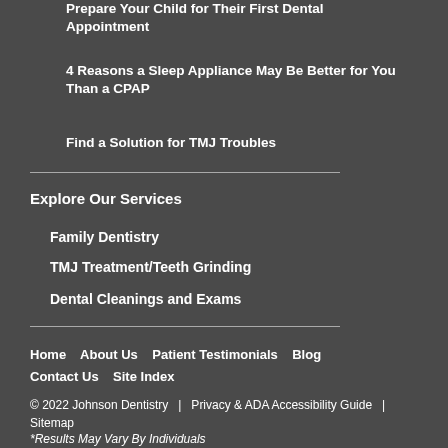Prepare Your Child for Their First Dental Appointment
4 Reasons a Sleep Appliance May Be Better for You Than a CPAP
Find a Solution for TMJ Troubles
Explore Our Services
Family Dentistry
TMJ Treatment/Teeth Grinding
Dental Cleanings and Exams
Home   About Us   Patient Testimonials   Blog   Contact Us   Site Index
© 2022 Johnson Dentistry  |  Privacy & ADA Accessibility Guide  |  Sitemap
*Results May Vary By Individuals